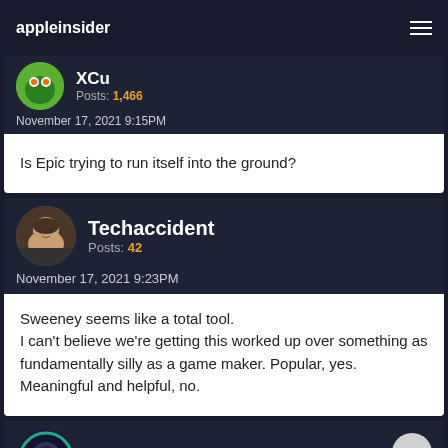appleinsider
XCu
Posts: 1,466
November 17, 2021 9:15PM
Is Epic trying to run itself into the ground?
Techaccident
Posts: 42
November 17, 2021 9:23PM
Sweeney seems like a total tool.
I can't believe we're getting this worked up over something as fundamentally silly as a game maker. Popular, yes.
Meaningful and helpful, no.
Dee_dee